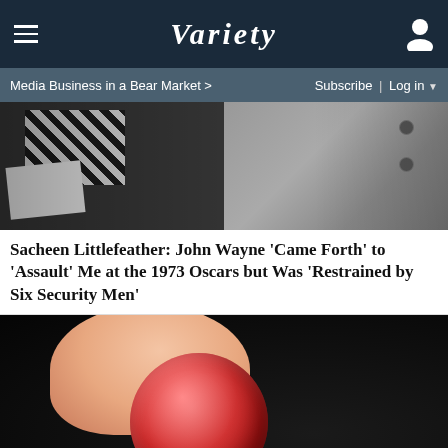Variety — navigation bar with hamburger menu and user icon
Media Business in a Bear Market > | Subscribe | Log in
[Figure (photo): Top portion of a photo split into two halves: left side shows black and white patterned fabric/clothing with paper, right side shows gray-toned buttoned cardigan or shirt]
Sacheen Littlefeather: John Wayne 'Came Forth' to 'Assault' Me at the 1973 Oscars but Was 'Restrained by Six Security Men'
[Figure (photo): Close-up photo of a finger holding a red sugar-coated gummy candy against a dark background. An X button appears in the lower right corner.]
[Figure (photo): Advertisement banner: MEET AIRWEAVE — MODULAR, WASHABLE MATTRESS with SPY logo in yellow]